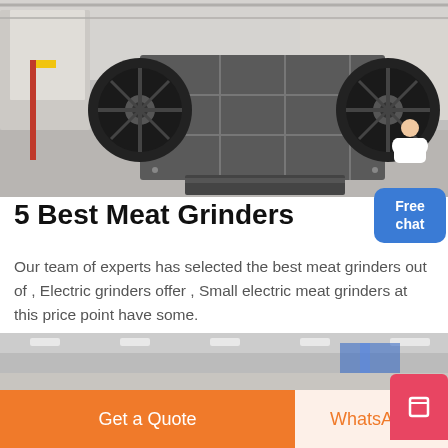[Figure (photo): Industrial machinery — a large metal crusher or grinder with two large wheels/pulleys on either side, photographed in a factory/warehouse setting with grey floor and industrial background.]
5 Best Meat Grinders
Our team of experts has selected the best meat grinders out of , Electric grinders offer , Small electric meat grinders at this price point have some.
MORE
[Figure (photo): Partial view of an industrial facility interior, showing ceiling lights and machinery/equipment in the background.]
Get a Quote
WhatsApp